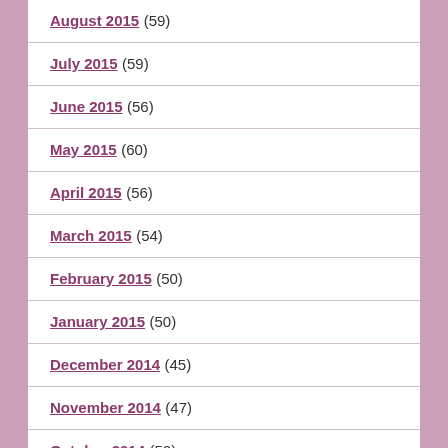August 2015 (59)
July 2015 (59)
June 2015 (56)
May 2015 (60)
April 2015 (56)
March 2015 (54)
February 2015 (50)
January 2015 (50)
December 2014 (45)
November 2014 (47)
October 2014 (50)